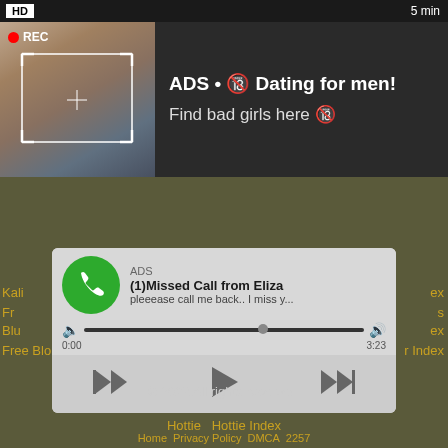[Figure (screenshot): Top navigation bar with HD badge on left and '5 min' on right, dark background]
[Figure (photo): Woman taking selfie in mirror, REC badge overlay with camera focus rectangle, part of dating advertisement]
ADS • 🔞 Dating for men! Find bad girls here 🔞
lesbi
ati...
[Figure (screenshot): Fake WhatsApp missed call notification ad: green phone icon, ADS label, '(1)Missed Call from Eliza', 'pleeease call me back.. I miss y...', audio player bar with time 0:00 / 3:23, playback controls (rewind, play, fast-forward)]
Kali
ex
Fr
s
Blu
ex
Free Blo
r Index
Hottie  Hottie Index
© 2022 All rights reserved.
Home  Privacy Policy  DMCA  2257